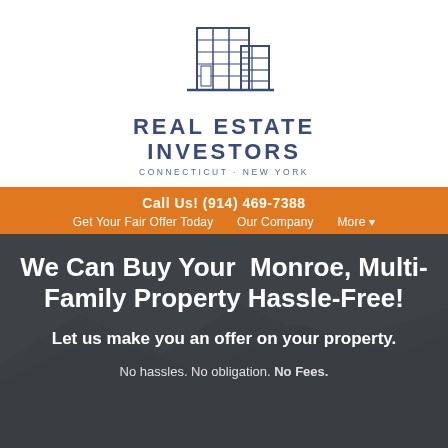[Figure (logo): Blue line-art building/skyscraper logo for Real Estate Investors Connecticut New York]
REAL ESTATE INVESTORS
CONNECTICUT · NEW YORK
Call Us! (914) 469-7388  Get Your Fair Offer Today  Our Company  More ▾
We Can Buy Your Monroe, Multi-Family Property Hassle-Free!
Let us make you an offer on your property.
No hassles. No obligation. No Fees.